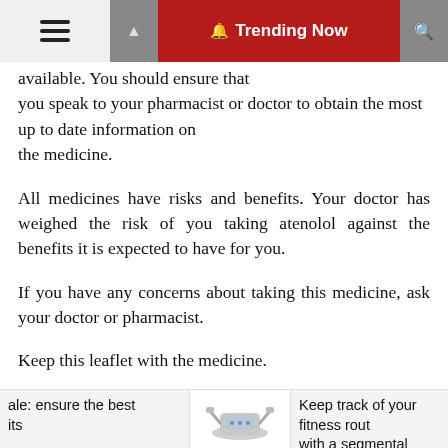☰  🔔 Trending Now 🔍
available. You should ensure that you speak to your pharmacist or doctor to obtain the most up to date information on the medicine.
All medicines have risks and benefits. Your doctor has weighed the risk of you taking atenolol against the benefits it is expected to have for you.
If you have any concerns about taking this medicine, ask your doctor or pharmacist.
Keep this leaflet with the medicine.
You may want to read it again.
What this medicine is used for
ale: ensure the best its   Keep track of your fitness rout with a segmental body compo: